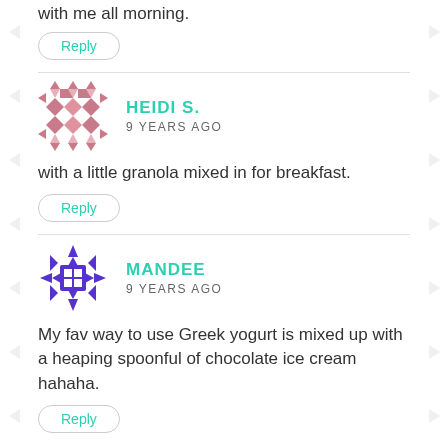with me all morning.
Reply
[Figure (illustration): Pixel/geometric avatar icon for Heidi S. in pink/rose color]
HEIDI S.
9 YEARS AGO
with a little granola mixed in for breakfast.
Reply
[Figure (illustration): Pixel/geometric avatar icon for Mandee in blue/purple color]
MANDEE
9 YEARS AGO
My fav way to use Greek yogurt is mixed up with a heaping spoonful of chocolate ice cream hahaha.
Reply